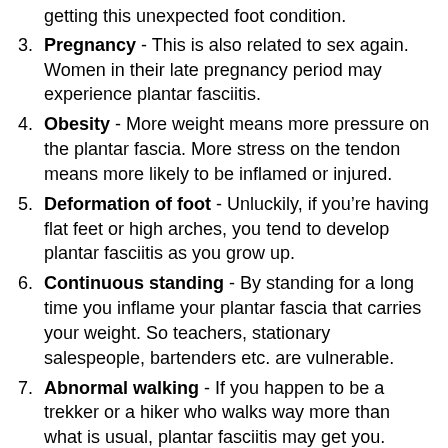getting this unexpected foot condition.
Pregnancy - This is also related to sex again. Women in their late pregnancy period may experience plantar fasciitis.
Obesity - More weight means more pressure on the plantar fascia. More stress on the tendon means more likely to be inflamed or injured.
Deformation of foot - Unluckily, if you’re having flat feet or high arches, you tend to develop plantar fasciitis as you grow up.
Continuous standing - By standing for a long time you inflame your plantar fascia that carries your weight. So teachers, stationary salespeople, bartenders etc. are vulnerable.
Abnormal walking - If you happen to be a trekker or a hiker who walks way more than what is usual, plantar fasciitis may get you.
Excessive Running - Athletes who run a long-distance regularly often get caught by this foot ailment.